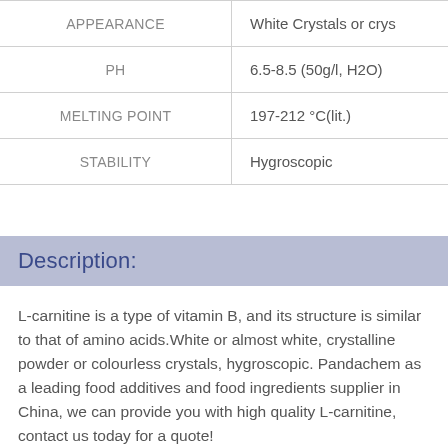| Property | Value |
| --- | --- |
| APPEARANCE | White Crystals or crys |
| PH | 6.5-8.5 (50g/l, H2O) |
| MELTING POINT | 197-212 °C(lit.) |
| STABILITY | Hygroscopic |
Description:
L-carnitine is a type of vitamin B, and its structure is similar to that of amino acids.White or almost white, crystalline powder or colourless crystals, hygroscopic. Pandachem as a leading food additives and food ingredients supplier in China, we can provide you with high quality L-carnitine, contact us today for a quote!